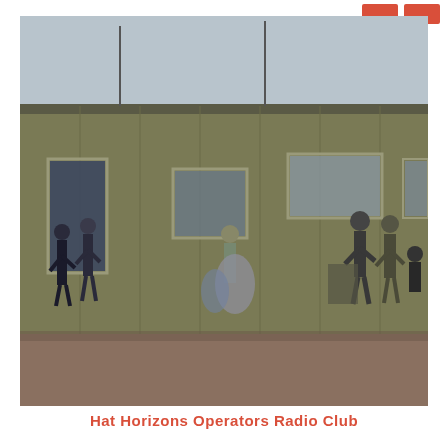[Figure (photo): Outdoor photograph of a long olive-green metal building with several windows. Several people are gathered outside the building on a gravel/dirt ground. Two people stand near the entrance on the left, a person with equipment in the center, and a group of people on the right near the far end of the building. Antennas or poles visible on the roof. Overcast sky.]
Hat Horizons Operators Radio Club